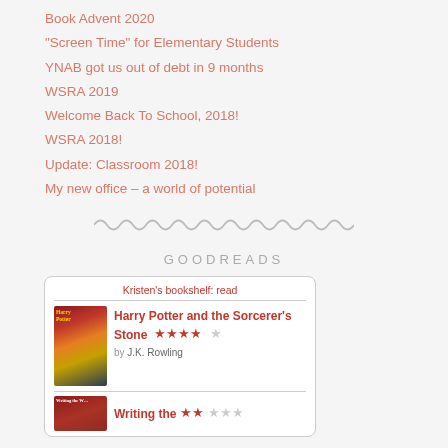Book Advent 2020
“Screen Time” for Elementary Students
YNAB got us out of debt in 9 months
WSRA 2019
Welcome Back To School, 2018!
WSRA 2018!
Update: Classroom 2018!
My new office – a world of potential
[Figure (illustration): Zigzag/wave decorative divider line in gray]
GOODREADS
[Figure (screenshot): Goodreads widget showing Kristen's bookshelf read. Harry Potter and the Sorcerer's Stone by J.K. Rowling with 4 out of 5 stars. Writing the... with 2 out of 5 stars.]